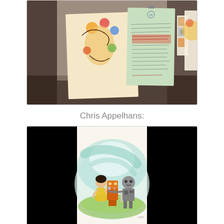[Figure (photo): Photograph of a bulletin board or wall with cartoon/comic illustrations pinned up, including a colorful cartoon character drawing, a handwritten note/letter on light green paper, photo strips, and a partial view of another illustration on the right side. The scene is dimly lit with warm tones on the sides.]
Chris Appelhans:
[Figure (illustration): Watercolor illustration showing two small cartoon children and a robot sitting around a small white table outdoors on green grass, with a light blue/teal circular background. The children appear to be having a tea party or meal with the robot. Black panels flank the illustration on left and right.]